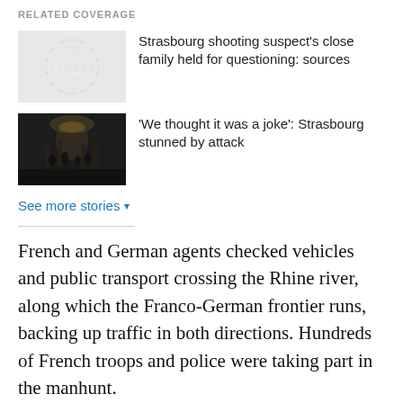RELATED COVERAGE
Strasbourg shooting suspect's close family held for questioning: sources
'We thought it was a joke': Strasbourg stunned by attack
See more stories
French and German agents checked vehicles and public transport crossing the Rhine river, along which the Franco-German frontier runs, backing up traffic in both directions. Hundreds of French troops and police were taking part in the manhunt.